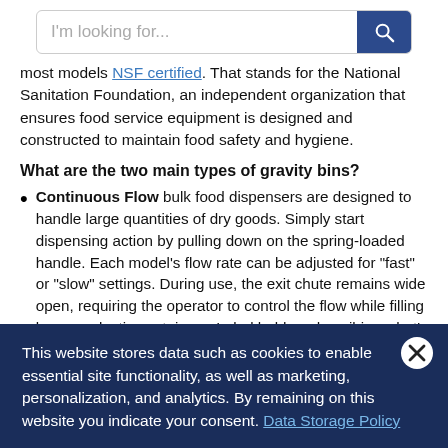I'm looking for...
most models NSF certified. That stands for the National Sanitation Foundation, an independent organization that ensures food service equipment is designed and constructed to maintain food safety and hygiene.
What are the two main types of gravity bins?
Continuous Flow bulk food dispensers are designed to handle large quantities of dry goods. Simply start dispensing action by pulling down on the spring-loaded handle. Each model's flow rate can be adjusted for "fast" or "slow" settings. During use, the exit chute remains wide open, requiring the operator to control the flow while filling bags or plastic containers. Label holders describing what's inside complete the
This website stores data such as cookies to enable essential site functionality, as well as marketing, personalization, and analytics. By remaining on this website you indicate your consent. Data Storage Policy